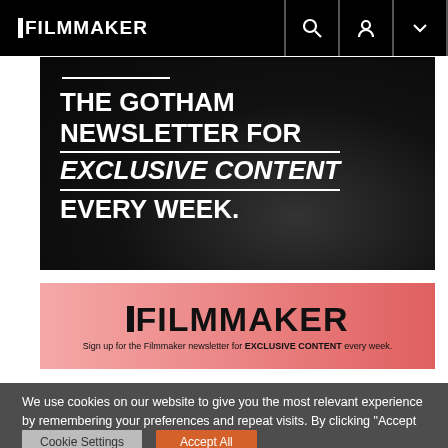FILMMAKER
[Figure (illustration): Dark textured banner with white text: THE GOTHAM NEWSLETTER FOR EXCLUSIVE CONTENT EVERY WEEK.]
[Figure (logo): Filmmaker logo on pink/red gradient background with tagline: Sign up for the Filmmaker newsletter for EXCLUSIVE CONTENT every week.]
We use cookies on our website to give you the most relevant experience by remembering your preferences and repeat visits. By clicking "Accept All", you consent to the use of ALL the cookies. However, you may visit "Cookie Settings" to provide a controlled consent.
Cookie Settings
Accept All